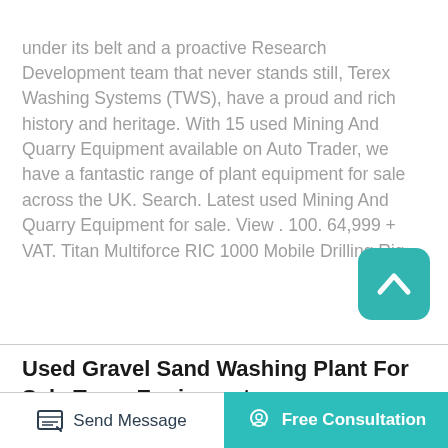under its belt and a proactive Research Development team that never stands still, Terex Washing Systems (TWS), have a proud and rich history and heritage. With 15 used Mining And Quarry Equipment available on Auto Trader, we have a fantastic range of plant equipment for sale across the UK. Search. Latest used Mining And Quarry Equipment for sale. View . 100. 64,999 + VAT. Titan Multiforce RIC 1000 Mobile Drilling Rig.
Used Gravel Sand Washing Plant For Sale Terex Equipment
Sand Washing Machine.  Capacity  1-200 TPH.  Types Wheel type and spiral type sand washing
Send Message   Free Consultation